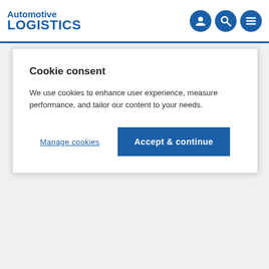Automotive LOGISTICS
Cookie consent
We use cookies to enhance user experience, measure performance, and tailor our content to your needs.
Manage cookies
Accept & continue
Register: Finished Vehicle Logistics survey results – what's next for global outbound logistics?
Factory closures extended in China as drought continues